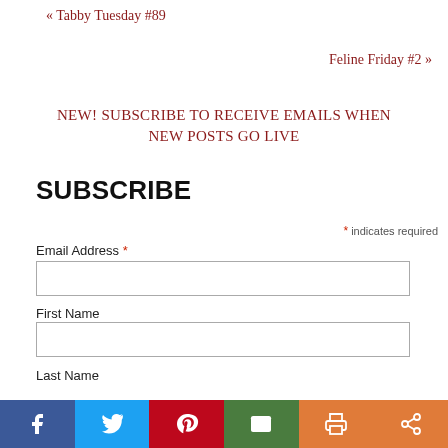« Tabby Tuesday #89
Feline Friday #2 »
NEW! SUBSCRIBE TO RECEIVE EMAILS WHEN NEW POSTS GO LIVE
SUBSCRIBE
* indicates required
Email Address *
First Name
Last Name